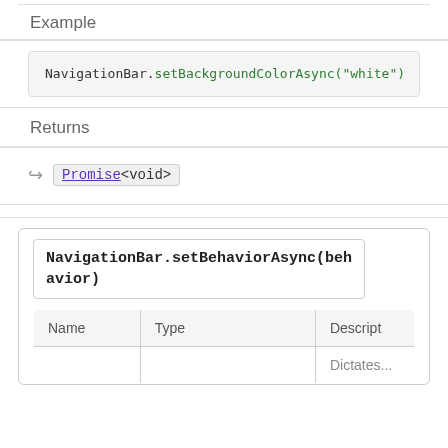Example
NavigationBar.setBackgroundColorAsync("white")
Returns
Promise<void>
NavigationBar.setBehaviorAsync(behavior)
| Name | Type | Description |
| --- | --- | --- |
|  |  | Dictates... |